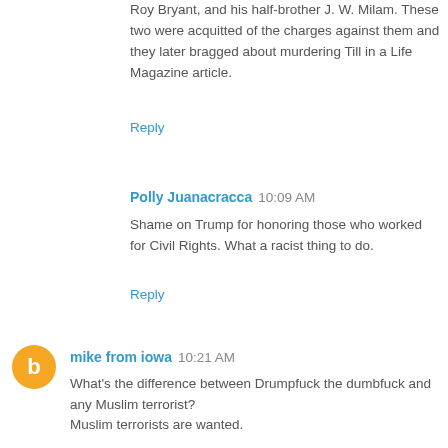Roy Bryant, and his half-brother J. W. Milam. These two were acquitted of the charges against them and they later bragged about murdering Till in a Life Magazine article.
Reply
Polly Juanacracca  10:09 AM
Shame on Trump for honoring those who worked for Civil Rights. What a racist thing to do.
Reply
mike from iowa  10:21 AM
What's the difference between Drumpfuck the dumbfuck and any Muslim terrorist?

Muslim terrorists are wanted.
Reply